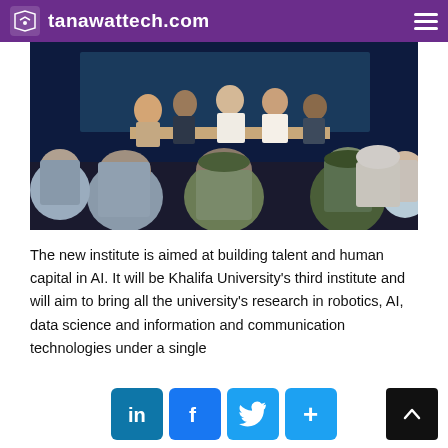tanawattech.com
[Figure (photo): Panel discussion or meeting in progress. Several people in military uniforms and traditional Arab dress sit with backs to the camera facing a panel of speakers at a table. The room has a dark tech-themed backdrop.]
The new institute is aimed at building talent and human capital in AI. It will be Khalifa University's third institute and will aim to bring all the university's research in robotics, AI, data science and information and communication technologies under a single
Social share buttons: LinkedIn, Facebook, Twitter, More. Back to top button.